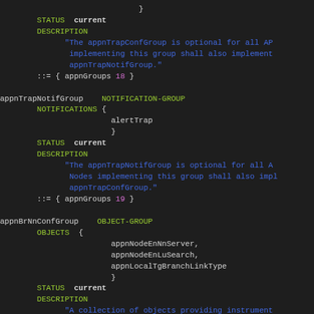MIB source code / SNMP MIB definition snippet showing appnTrapNotifGroup and appnBrNnConfGroup definitions
} STATUS current DESCRIPTION "The appnTrapConfGroup is optional for all AP implementing this group shall also implement appnTrapNotifGroup." ::= { appnGroups 18 }
appnTrapNotifGroup NOTIFICATION-GROUP NOTIFICATIONS { alertTrap } STATUS current DESCRIPTION "The appnTrapNotifGroup is optional for all A Nodes implementing this group shall also impl appnTrapConfGroup." ::= { appnGroups 19 }
appnBrNnConfGroup OBJECT-GROUP OBJECTS { appnNodeEnNnServer, appnNodeEnLuSearch, appnLocalTgBranchLinkType } STATUS current DESCRIPTION "A collection of objects providing instrument branch network nodes. Some of these objects in the instrumentation for an end node.